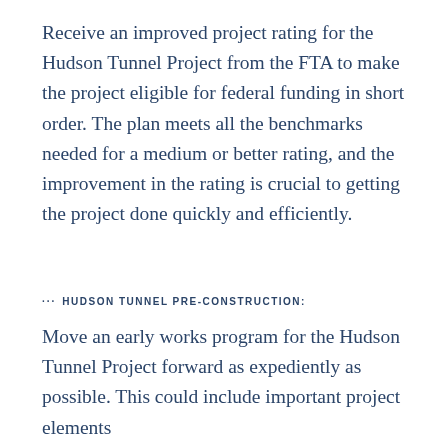Receive an improved project rating for the Hudson Tunnel Project from the FTA to make the project eligible for federal funding in short order. The plan meets all the benchmarks needed for a medium or better rating, and the improvement in the rating is crucial to getting the project done quickly and efficiently.
··· HUDSON TUNNEL PRE-CONSTRUCTION:
Move an early works program for the Hudson Tunnel Project forward as expediently as possible. This could include important project elements